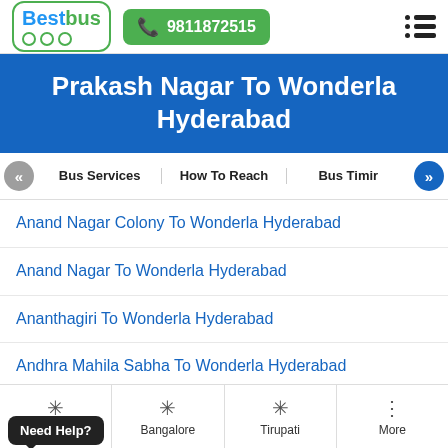[Figure (logo): BestBus logo with green bus icon and phone number button 9811872515]
Prakash Nagar To Wonderla Hyderabad
Bus Services | How To Reach | Bus Timir
Anand Nagar Colony To Wonderla Hyderabad
Anand Nagar To Wonderla Hyderabad
Ananthagiri To Wonderla Hyderabad
Andhra Mahila Sabha To Wonderla Hyderabad
Anil Tandoon Guest House, Banjara Hills To Wonderla Hyderabad
Need Help?
Hyderabad | Bangalore | Tirupati | More